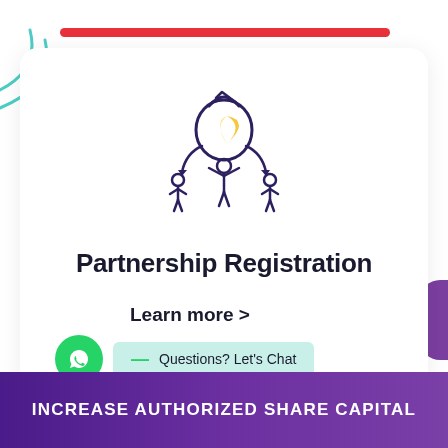[Figure (illustration): Partnership registration icon: a person holding up a money bag, with two smaller figures on each side connected by arrows, rendered in dark navy/purple outline style with a yellow accent on the bag]
Partnership Registration
Learn more >
Questions? Let's Chat
INCREASE AUTHORIZED SHARE CAPITAL